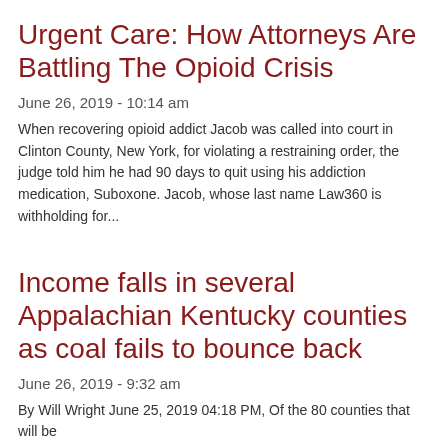Urgent Care: How Attorneys Are Battling The Opioid Crisis
June 26, 2019 - 10:14 am
When recovering opioid addict Jacob was called into court in Clinton County, New York, for violating a restraining order, the judge told him he had 90 days to quit using his addiction medication, Suboxone. Jacob, whose last name Law360 is withholding for...
Income falls in several Appalachian Kentucky counties as coal fails to bounce back
June 26, 2019 - 9:32 am
By Will Wright June 25, 2019 04:18 PM, Of the 80 counties that will be